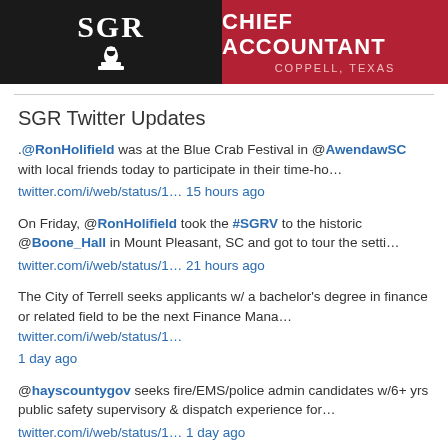[Figure (logo): SGR logo on dark background with chess piece icon]
[Figure (logo): Chief Accountant Coppell Texas text on red background]
SGR Twitter Updates
.@RonHolifield was at the Blue Crab Festival in @AwendawSC with local friends today to participate in their time-ho…
twitter.com/i/web/status/1… 15 hours ago
On Friday, @RonHolifield took the #SGRV to the historic @Boone_Hall in Mount Pleasant, SC and got to tour the setti…
twitter.com/i/web/status/1… 21 hours ago
The City of Terrell seeks applicants w/ a bachelor's degree in finance or related field to be the next Finance Mana… twitter.com/i/web/status/1… 1 day ago
@hayscountygov seeks fire/EMS/police admin candidates w/6+ yrs public safety supervisory & dispatch experience for…
twitter.com/i/web/status/1… 1 day ago